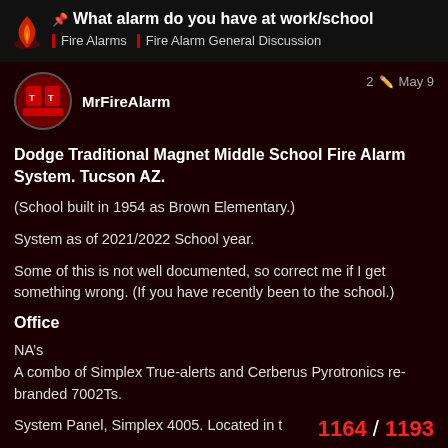📌 What alarm do you have at work/school | Fire Alarms | Fire Alarm General Discussion
MrFireAlarm — 2 edits — May 9
Dodge Traditional Magnet Middle School Fire Alarm System. Tucson AZ.
(School built in 1954 as Brown Elementary.)
System as of 2021/2022 School year.
Some of this is not well documented, so correct me if I get something wrong. (If you have recently been to the school.)
Office
NA's
A combo of Simplex True-alerts and Cerberus Pyrotronics re-branded 7002Ts.
System Panel, Simplex 4005. Located in t
1164 / 1193